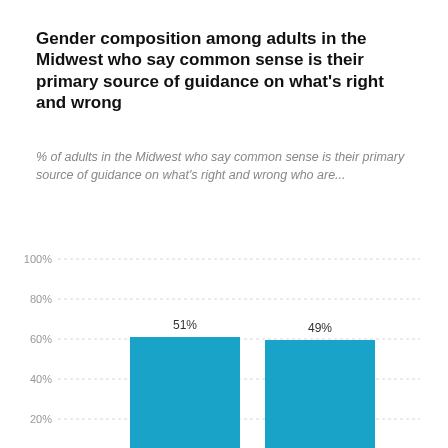Gender composition among adults in the Midwest who say common sense is their primary source of guidance on what's right and wrong
% of adults in the Midwest who say common sense is their primary source of guidance on what's right and wrong who are...
[Figure (bar-chart): Gender composition among adults in the Midwest]